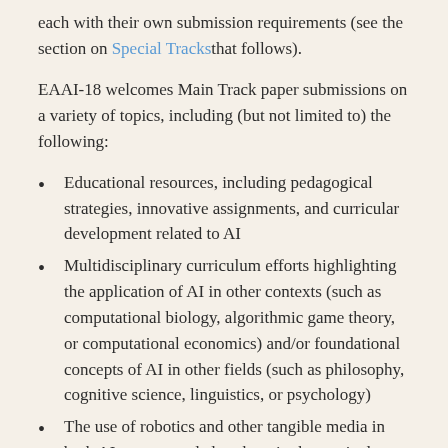each with their own submission requirements (see the section on Special Tracks that follows).
EAAI-18 welcomes Main Track paper submissions on a variety of topics, including (but not limited to) the following:
Educational resources, including pedagogical strategies, innovative assignments, and curricular development related to AI
Multidisciplinary curriculum efforts highlighting the application of AI in other contexts (such as computational biology, algorithmic game theory, or computational economics) and/or foundational concepts of AI in other fields (such as philosophy, cognitive science, linguistics, or psychology)
The use of robotics and other tangible media in both AI courses and elsewhere in the curriculum